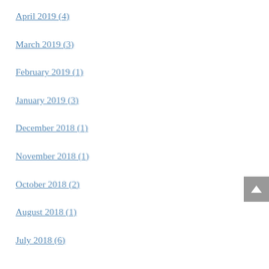April 2019 (4)
March 2019 (3)
February 2019 (1)
January 2019 (3)
December 2018 (1)
November 2018 (1)
October 2018 (2)
August 2018 (1)
July 2018 (6)